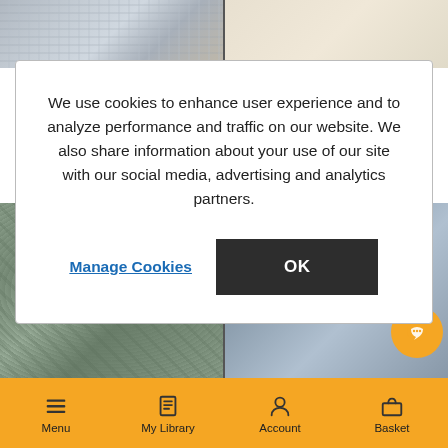[Figure (screenshot): Background showing knitted garments in gray-blue and cream colors (top), and green textured knit and gray knit with button (bottom)]
We use cookies to enhance user experience and to analyze performance and traffic on our website. We also share information about your use of our site with our social media, advertising and analytics partners.
Manage Cookies
OK
Menu  My Library  Account  Basket